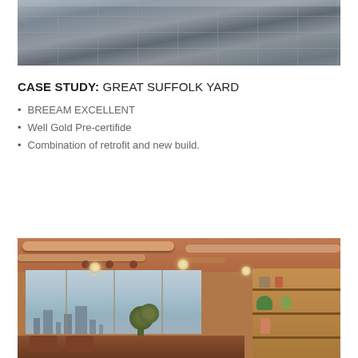[Figure (photo): Interior photo showing grey tiled floor from above/angled perspective]
CASE STUDY: GREAT SUFFOLK YARD
BREEAM EXCELLENT
Well Gold Pre-certifide
Combination of retrofit and new build.
[Figure (photo): Interior photo of a modern office/lounge area with exposed ductwork on ceiling, large windows overlooking city skyline, plants, leather chairs, and wooden bookshelves]